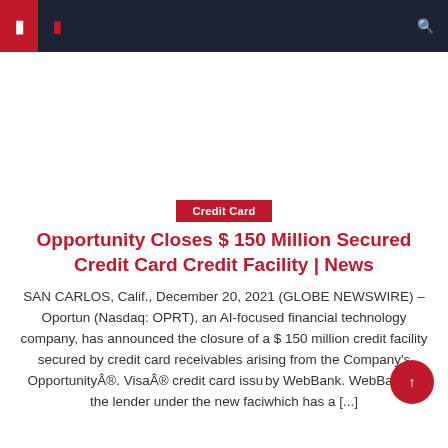Navigation bar with menu icons and search
Credit Card
Opportunity Closes $ 150 Million Secured Credit Card Credit Facility | News
SAN CARLOS, Calif., December 20, 2021 (GLOBE NEWSWIRE) – Oportun (Nasdaq: OPRT), an AI-focused financial technology company, has announced the closure of a $ 150 million credit facility secured by credit card receivables arising from the Company's Opportunity®. Visa® credit card issued by WebBank. WebBank is the lender under the new facility, which has a [...]